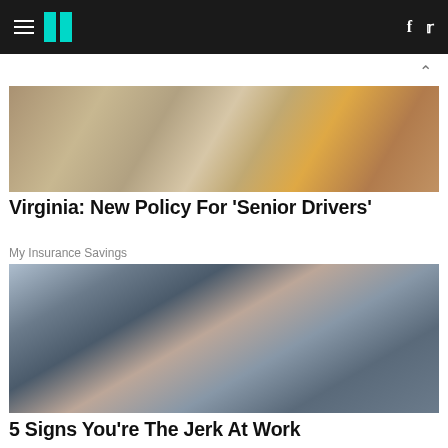Huffington Post navigation bar with hamburger menu, logo, Facebook and Twitter icons
[Figure (photo): Partial photo showing hands holding a tablet device, cropped at top]
Virginia: New Policy For 'Senior Drivers'
My Insurance Savings
[Figure (photo): Office scene with an older man in suit with red tie speaking to a woman in black blazer who looks stressed]
5 Signs You're The Jerk At Work